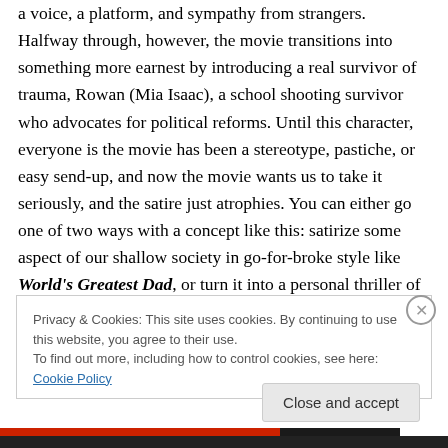a voice, a platform, and sympathy from strangers. Halfway through, however, the movie transitions into something more earnest by introducing a real survivor of trauma, Rowan (Mia Isaac), a school shooting survivor who advocates for political reforms. Until this character, everyone is the movie has been a stereotype, pastiche, or easy send-up, and now the movie wants us to take it seriously, and the satire just atrophies. You can either go one of two ways with a concept like this: satirize some aspect of our shallow society in go-for-broke style like World's Greatest Dad, or turn it into a personal thriller of
Privacy & Cookies: This site uses cookies. By continuing to use this website, you agree to their use.
To find out more, including how to control cookies, see here: Cookie Policy
Close and accept